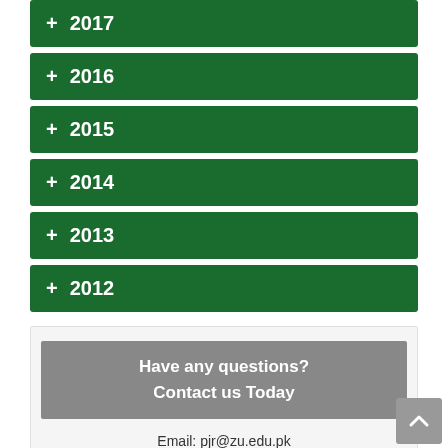+ 2017
+ 2016
+ 2015
+ 2014
+ 2013
+ 2012
Have any questions?
Contact us Today
Email: pjr@zu.edu.pk